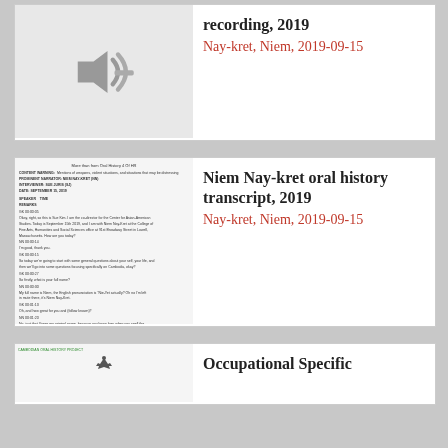[Figure (illustration): Audio speaker/recording icon on grey background]
recording, 2019
Nay-kret, Niem, 2019-09-15
[Figure (screenshot): Scanned transcript document page with small text]
Niem Nay-kret oral history transcript, 2019
Nay-kret, Niem, 2019-09-15
[Figure (screenshot): Document page thumbnail with header and eagle logo]
Occupational Specific